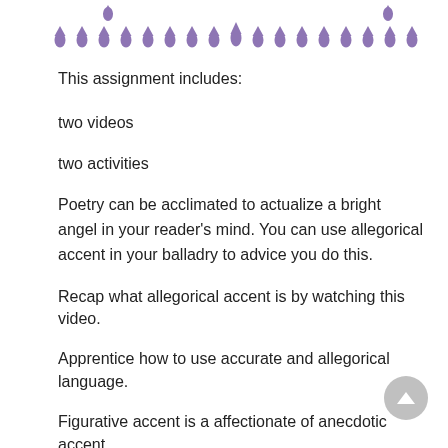[Figure (illustration): Decorative border of small purple drop/teardrop shapes arranged in two rows across the top of the page]
This assignment includes:
two videos
two activities
Poetry can be acclimated to actualize a bright angel in your reader's mind. You can use allegorical accent in your balladry to advice you do this.
Recap what allegorical accent is by watching this video.
Apprentice how to use accurate and allegorical language.
Figurative accent is a affectionate of anecdotic accent